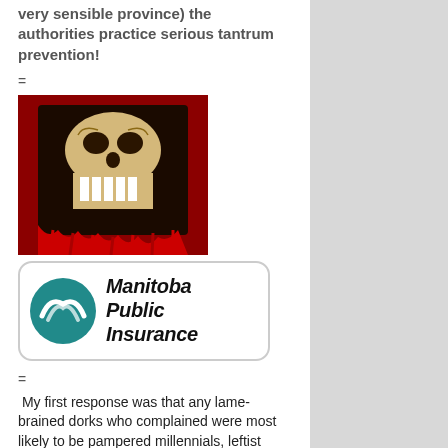very sensible province) the authorities practice serious tantrum prevention!
=
[Figure (illustration): Dark illustration of a skull or monstrous face with red background and fringe details]
[Figure (logo): Manitoba Public Insurance logo: teal circle with stylized 'M' icon and bold italic text 'Manitoba Public Insurance']
=
My first response was that any lame-brained dorks who complained were most likely to be pampered millennials, leftist sticky-beak creeps who have nothing better to do than wander